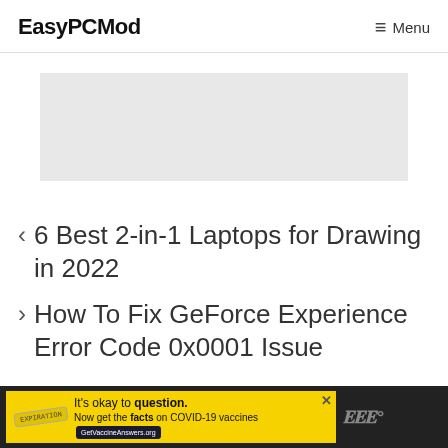EasyPCMod   Menu
[Figure (other): Gray advertisement banner placeholder]
< 6 Best 2-in-1 Laptops for Drawing in 2022
> How To Fix GeForce Experience Error Code 0x0001 Issue
[Figure (other): Bottom advertisement banner: yellow background with 'It's okay to question. Now get the facts on COVID-19 vaccines GetVaccineAnswers.org' and close button X, on dark bar]